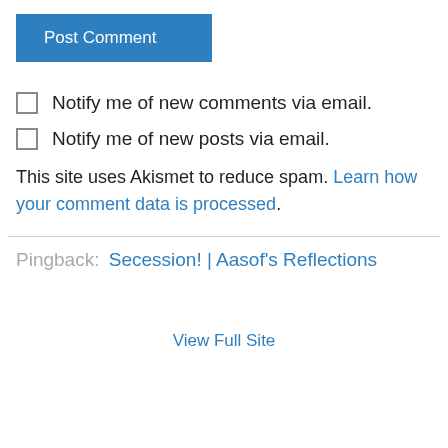[Figure (other): Blue 'Post Comment' button]
Notify me of new comments via email.
Notify me of new posts via email.
This site uses Akismet to reduce spam. Learn how your comment data is processed.
Pingback: Secession! | Aasof's Reflections
View Full Site